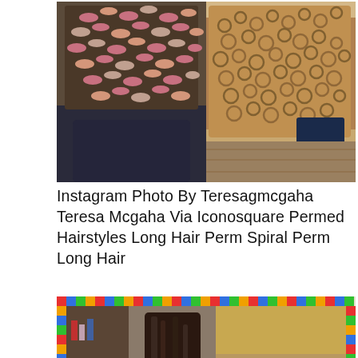[Figure (photo): Two side-by-side hair photos: left shows hair wound around many perm rods/rollers from the back, right shows the resulting curly/wavy hair after a perm treatment. Person is wearing a dark salon cape.]
Instagram Photo By Teresagmcgaha Teresa Mcgaha Via Iconosquare Permed Hairstyles Long Hair Perm Spiral Perm Long Hair
[Figure (photo): Two side-by-side hair photos with colorful pixel border: left shows a person from behind with long dark hair in a salon, right shows a pile of perm rods/rollers ready for use.]